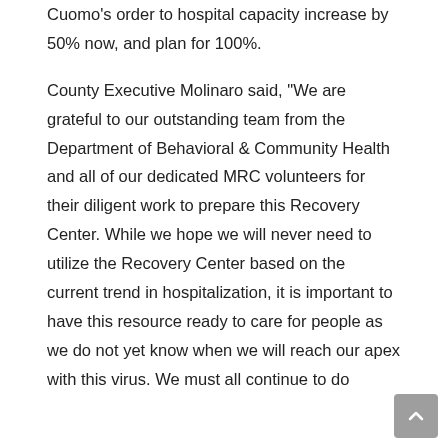Cuomo's order to hospital capacity increase by 50% now, and plan for 100%.
County Executive Molinaro said, "We are grateful to our outstanding team from the Department of Behavioral & Community Health and all of our dedicated MRC volunteers for their diligent work to prepare this Recovery Center. While we hope we will never need to utilize the Recovery Center based on the current trend in hospitalization, it is important to have this resource ready to care for people as we do not yet know when we will reach our apex with this virus. We must all continue to do